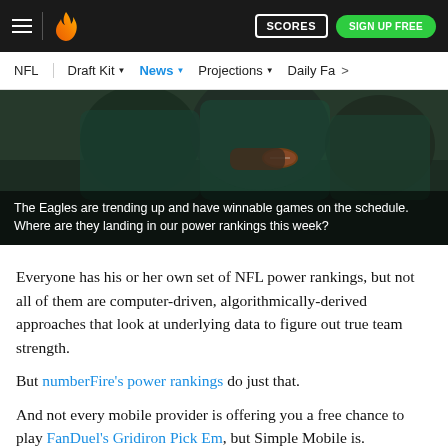numberFire navigation bar with hamburger menu, flame logo, SCORES button, SIGN UP FREE button
NFL | Draft Kit ▾ | News ▾ | Projections ▾ | Daily Fa >
[Figure (photo): Philadelphia Eagles players on field, one holding a football. Image has a dark overlay at the bottom with caption text.]
The Eagles are trending up and have winnable games on the schedule. Where are they landing in our power rankings this week?
Everyone has his or her own set of NFL power rankings, but not all of them are computer-driven, algorithmically-derived approaches that look at underlying data to figure out true team strength.
But numberFire's power rankings do just that.
And not every mobile provider is offering you a free chance to play FanDuel's Gridiron Pick Em, but Simple Mobile is.